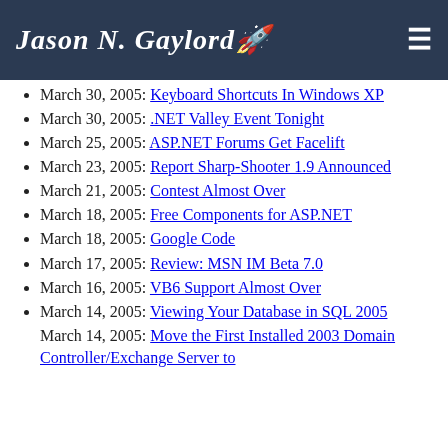Jason N. Gaylord 🚀
March 30, 2005: Keyboard Shortcuts In Windows XP
March 30, 2005: .NET Valley Event Tonight
March 25, 2005: ASP.NET Forums Get Facelift
March 23, 2005: Report Sharp-Shooter 1.9 Announced
March 21, 2005: Contest Almost Over
March 18, 2005: Free Components for ASP.NET
March 18, 2005: Google Code
March 17, 2005: Review: MSN IM Beta 7.0
March 16, 2005: VB6 Support Almost Over
March 14, 2005: Viewing Your Database in SQL 2005
March 14, 2005: Move the First Installed 2003 Domain Controller/Exchange Server to...